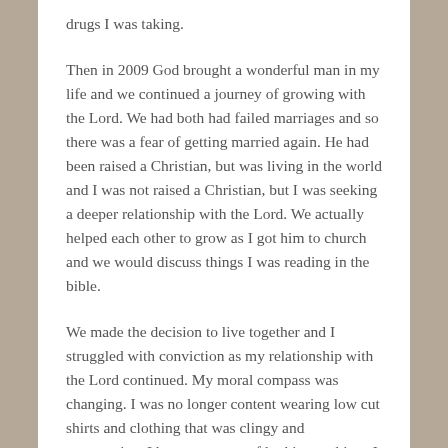drugs I was taking.
Then in 2009 God brought a wonderful man in my life and we continued a journey of growing with the Lord. We had both had failed marriages and so there was a fear of getting married again. He had been raised a Christian, but was living in the world and I was not raised a Christian, but I was seeking a deeper relationship with the Lord. We actually helped each other to grow as I got him to church and we would discuss things I was reading in the bible.
We made the decision to live together and I struggled with conviction as my relationship with the Lord continued. My moral compass was changing. I was no longer content wearing low cut shirts and clothing that was clingy and provocative. I became aware of looking at things I put on and thinking about how it could make